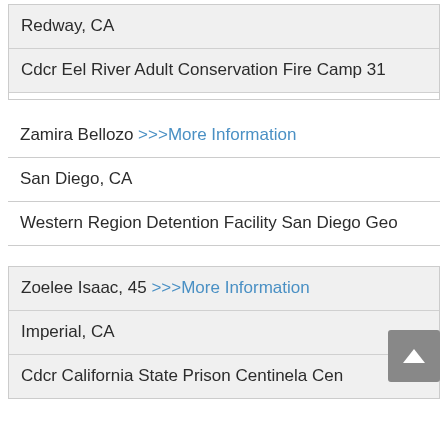Redway, CA
Cdcr Eel River Adult Conservation Fire Camp 31
Zamira Bellozo >>>More Information
San Diego, CA
Western Region Detention Facility San Diego Geo
Zoelee Isaac, 45 >>>More Information
Imperial, CA
Cdcr California State Prison Centinela Cen